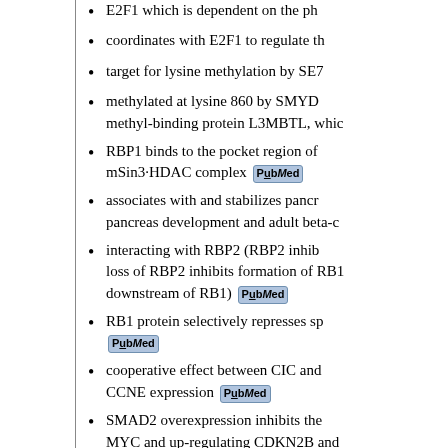E2F1 which is dependent on the ph...
coordinates with E2F1 to regulate th...
target for lysine methylation by SE7...
methylated at lysine 860 by SMYD... methyl-binding protein L3MBTL, whi...
RBP1 binds to the pocket region of... mSin3·HDAC complex [PubMed]
associates with and stabilizes pancr... pancreas development and adult beta-c...
interacting with RBP2 (RBP2 inhib... loss of RBP2 inhibits formation of RB1... downstream of RB1) [PubMed]
RB1 protein selectively represses sp... [PubMed]
cooperative effect between CIC and... CCNE expression [PubMed]
SMAD2 overexpression inhibits the... MYC and up-regulating CDKN2B and... arrest [PubMed]
lysine methylation-dependent bindi...